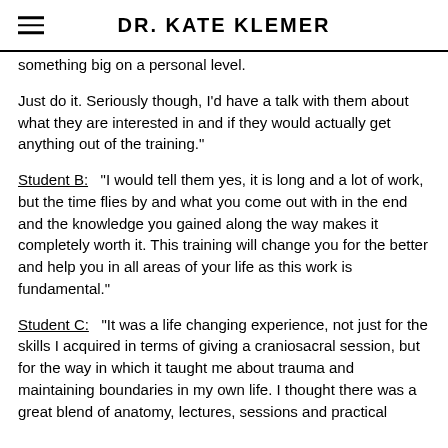DR. KATE KLEMER
something big on a personal level.
Just do it. Seriously though, I’d have a talk with them about what they are interested in and if they would actually get anything out of the training.”
Student B:  “I would tell them yes, it is long and a lot of work, but the time flies by and what you come out with in the end and the knowledge you gained along the way makes it completely worth it. This training will change you for the better and help you in all areas of your life as this work is fundamental.”
Student C:  “It was a life changing experience, not just for the skills I acquired in terms of giving a craniosacral session, but for the way in which it taught me about trauma and maintaining boundaries in my own life. I thought there was a great blend of anatomy, lectures, sessions and practical